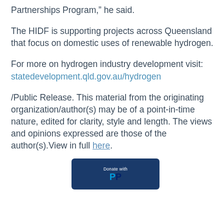Partnerships Program,” he said.
The HIDF is supporting projects across Queensland that focus on domestic uses of renewable hydrogen.
For more on hydrogen industry development visit: statedevelopment.qld.gov.au/hydrogen
/Public Release. This material from the originating organization/author(s) may be of a point-in-time nature, edited for clarity, style and length. The views and opinions expressed are those of the author(s).View in full here.
[Figure (other): Donate with PayPal button]